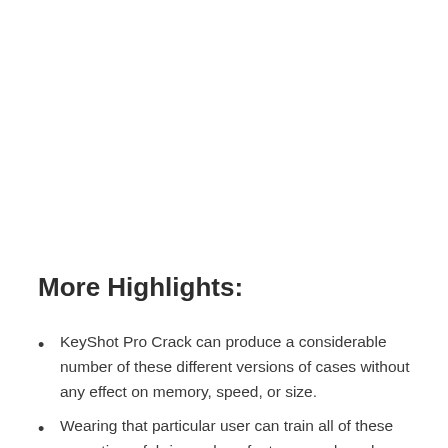More Highlights:
KeyShot Pro Crack can produce a considerable number of these different versions of cases without any effect on memory, speed, or size.
Wearing that particular user can train all of these sensations, fabrics, colors, features, and much